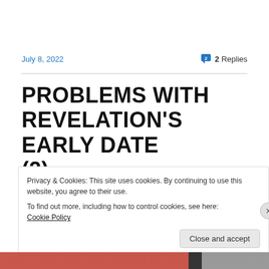July 8, 2022
2 Replies
PROBLEMS WITH REVELATION’S EARLY DATE (2)
Privacy & Cookies: This site uses cookies. By continuing to use this website, you agree to their use.
To find out more, including how to control cookies, see here: Cookie Policy
Close and accept